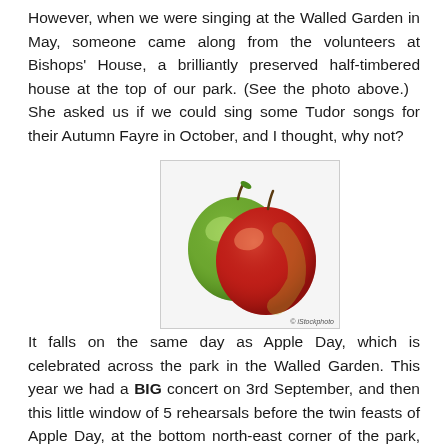However, when we were singing at the Walled Garden in May, someone came along from the volunteers at Bishops' House, a brilliantly preserved half-timbered house at the top of our park. (See the photo above.)   She asked us if we could sing some Tudor songs for their Autumn Fayre in October, and I thought, why not?
[Figure (photo): Two apples — a green apple and a red apple — side by side on a white background. iStockphoto watermark in the bottom right corner.]
It falls on the same day as Apple Day, which is celebrated across the park in the Walled Garden. This year we had a BIG concert on 3rd September, and then this little window of 5 rehearsals before the twin feasts of Apple Day, at the bottom north-east corner of the park, and the Tudor fair at